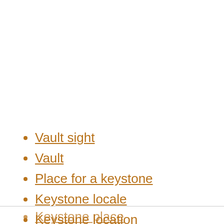Vault sight
Vault
Place for a keystone
Keystone locale
Keystone location
Keystone place